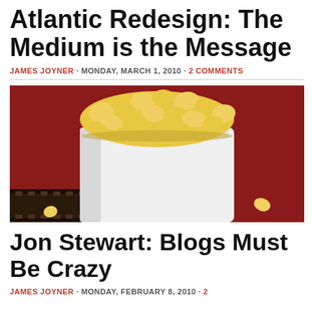Atlantic Redesign: The Medium is the Message
JAMES JOYNER · MONDAY, MARCH 1, 2010 · 2 COMMENTS
[Figure (photo): A white bucket of popcorn overflowing with yellow popcorn on a red background, with a strip of film in the lower left.]
Jon Stewart: Blogs Must Be Crazy
JAMES JOYNER · MONDAY, FEBRUARY 8, 2010 · 2 COMMENTS